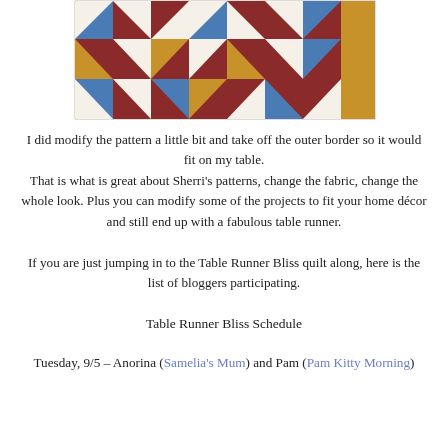[Figure (photo): A quilt/table runner with a patchwork pattern featuring dark red/maroon, blue, white, and gold/tan fabric triangles and squares arranged in a geometric design.]
I did modify the pattern a little bit and take off the outer border so it would fit on my table. That is what is great about Sherri's patterns, change the fabric, change the whole look. Plus you can modify some of the projects to fit your home décor and still end up with a fabulous table runner.
If you are just jumping in to the Table Runner Bliss quilt along, here is the list of bloggers participating.
Table Runner Bliss Schedule
Tuesday, 9/5 – Anorina (Samelia's Mum) and Pam (Pam Kitty Morning)